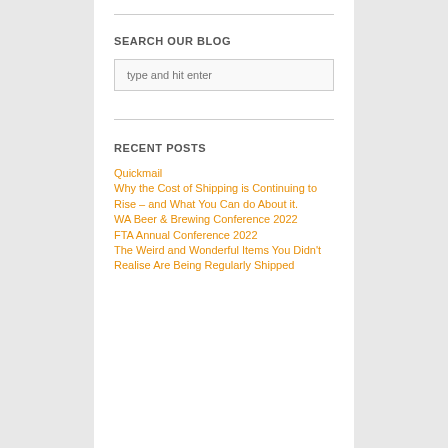SEARCH OUR BLOG
type and hit enter
RECENT POSTS
Quickmail
Why the Cost of Shipping is Continuing to Rise – and What You Can do About it.
WA Beer & Brewing Conference 2022
FTA Annual Conference 2022
The Weird and Wonderful Items You Didn't Realise Are Being Regularly Shipped